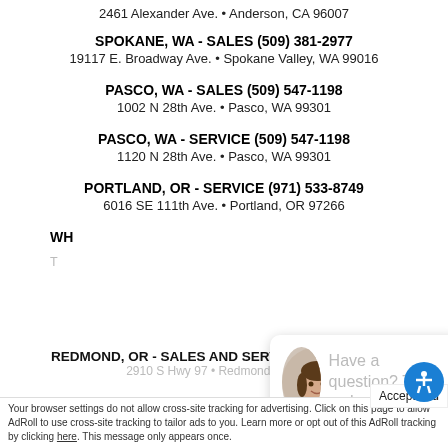2461 Alexander Ave. • Anderson, CA 96007
SPOKANE, WA - SALES (509) 381-2977
19117 E. Broadway Ave. • Spokane Valley, WA 99016
PASCO, WA - SALES (509) 547-1198
1002 N 28th Ave. • Pasco, WA 99301
PASCO, WA - SERVICE (509) 547-1198
1120 N 28th Ave. • Pasco, WA 99301
PORTLAND, OR - SERVICE (971) 533-8749
6016 SE 111th Ave. • Portland, OR 97266
WH
[Figure (other): Chat popup with photo of woman and text: Have a question? Text us here!]
REDMOND, OR - SALES AND SERVICE (541) 516-8831
2910 S Hwy 97 • Redmond, OR 97...
Accept and
Your browser settings do not allow cross-site tracking for advertising. Click on this page to allow AdRoll to use cross-site tracking to tailor ads to you. Learn more or opt out of this AdRoll tracking by clicking here. This message only appears once.